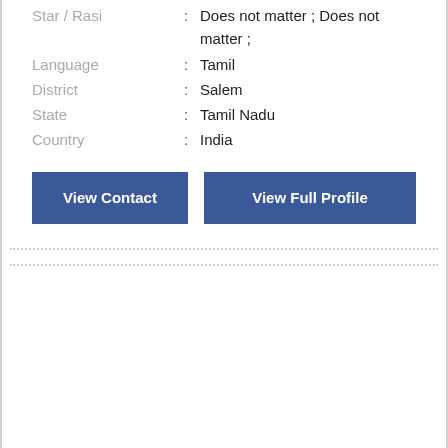Star / Rasi : Does not matter ; Does not matter ;
Language : Tamil
District : Salem
State : Tamil Nadu
Country : India
View Contact | View Full Profile